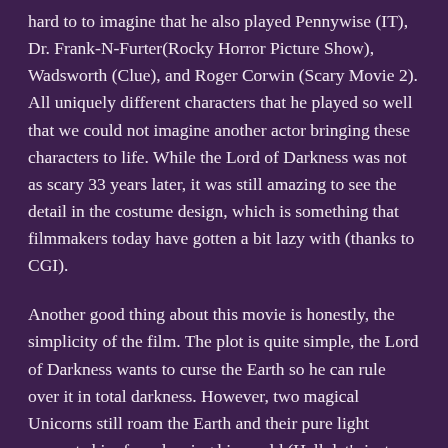hard to to imagine that he also played Pennywise (IT), Dr. Frank-N-Furter(Rocky Horror Picture Show), Wadsworth (Clue), and Roger Corwin (Scary Movie 2). All uniquely different characters that he played so well that we could not imagine another actor bringing these characters to life. While the Lord of Darkness was not as scary 33 years later, it was still amazing to see the detail in the costume design, which is something that filmmakers today have gotten a bit lazy with (thanks to CGI).
Another good thing about this movie is honestly, the simplicity of the film. The plot is quite simple, the Lord of Darkness wants to curse the Earth so he can rule over it in total darkness. However, two magical Unicorns still roam the Earth and their pure light prevents him from leaving his world (Hell, let's just say what it s) and cursing the Earth forever. So, he wants to kill the Unicorns so he can rule the Earth and a band of brave forest creatures attempt to stop him. That's it. I mean, there's a cute little love story going on but it has very little to do with the main plot. When you think about Fantasy films today and how they travel over many lands